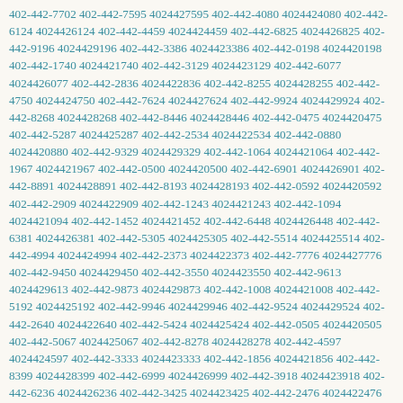4024427702 402-442-7595 4024427595 402-442-4080 4024424080 402-442-6124 4024426124 402-442-4459 4024424459 402-442-6825 4024426825 402-442-9196 4024429196 402-442-3386 4024423386 402-442-0198 4024420198 402-442-1740 4024421740 402-442-3129 4024423129 402-442-6077 4024426077 402-442-2836 4024422836 402-442-8255 4024428255 402-442-4750 4024424750 402-442-7624 4024427624 402-442-9924 4024429924 402-442-8268 4024428268 402-442-8446 4024428446 402-442-0475 4024420475 402-442-5287 4024425287 402-442-2534 4024422534 402-442-0880 4024420880 402-442-9329 4024429329 402-442-1064 4024421064 402-442-1967 4024421967 402-442-0500 4024420500 402-442-6901 4024426901 402-442-8891 4024428891 402-442-8193 4024428193 402-442-0592 4024420592 402-442-2909 4024422909 402-442-1243 4024421243 402-442-1094 4024421094 402-442-1452 4024421452 402-442-6448 4024426448 402-442-6381 4024426381 402-442-5305 4024425305 402-442-5514 4024425514 402-442-4994 4024424994 402-442-2373 4024422373 402-442-7776 4024427776 402-442-9450 4024429450 402-442-3550 4024423550 402-442-9613 4024429613 402-442-9873 4024429873 402-442-1008 4024421008 402-442-5192 4024425192 402-442-9946 4024429946 402-442-9524 4024429524 402-442-2640 4024422640 402-442-5424 4024425424 402-442-0505 4024420505 402-442-5067 4024425067 402-442-8278 4024428278 402-442-4597 4024424597 402-442-3333 4024423333 402-442-1856 4024421856 402-442-8399 4024428399 402-442-6999 4024426999 402-442-3918 4024423918 402-442-6236 4024426236 402-442-3425 4024423425 402-442-2476 4024422476 402-442-4425 4024424425 402-442-6459